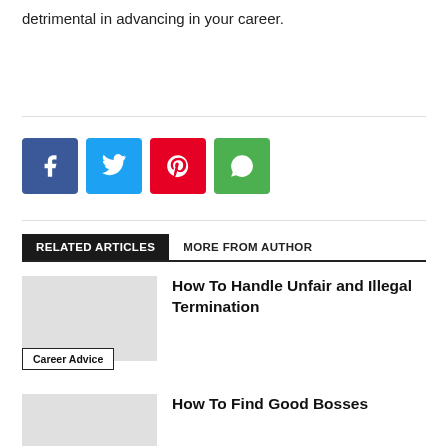detrimental in advancing in your career.
[Figure (other): Social share buttons: Facebook (blue), Twitter (light blue), Pinterest (red), WhatsApp (green)]
RELATED ARTICLES   MORE FROM AUTHOR
How To Handle Unfair and Illegal Termination
Career Advice
How To Find Good Bosses